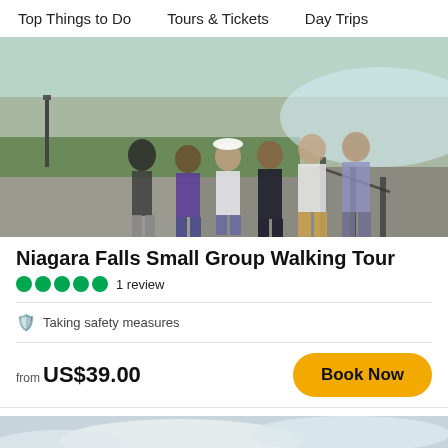Top Things to Do    Tours & Tickets    Day Trips
[Figure (photo): Group of tourists posing near Niagara Falls on a sunny day, with the falls and green landscape visible in the background]
Niagara Falls Small Group Walking Tour
1 review
Taking safety measures
from US$39.00
Book Now
[Figure (photo): Winter scene near Niagara Falls showing bare trees, partially frozen river, and mist from the falls in the background]